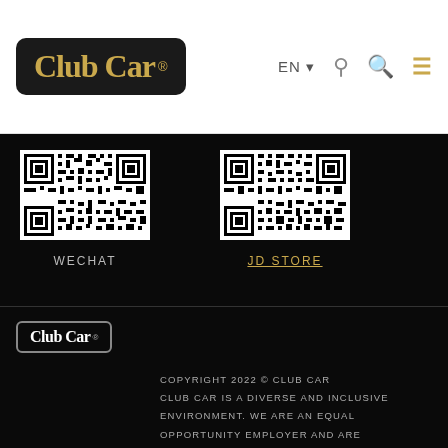[Figure (logo): Club Car logo in gold text on dark rounded rectangle background, with registered trademark symbol]
EN ▼
[Figure (photo): WeChat QR code]
WECHAT
[Figure (photo): JD Store QR code]
JD STORE
[Figure (logo): Club Car small white logo in outlined box]
COPYRIGHT 2022 © CLUB CAR CLUB CAR IS A DIVERSE AND INCLUSIVE ENVIRONMENT. WE ARE AN EQUAL OPPORTUNITY EMPLOYER AND ARE DEDICATED TO HIRING QUALIFIED PROTECTED VETERANS AND INDIVIDUALS WITH DISABILITIES | PRIVACY POLICY | TERMS OF USE
沪公网安备 CICPS14011291号沪ICP备